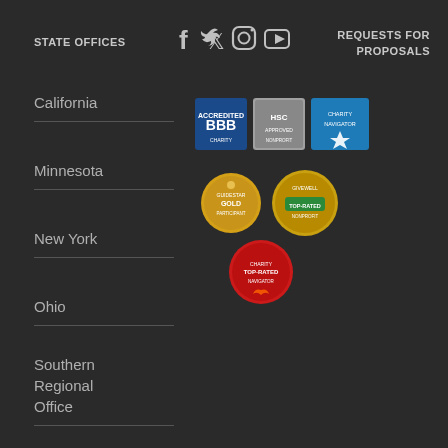STATE OFFICES
[Figure (illustration): Social media icons: Facebook, Twitter, Instagram, YouTube]
REQUESTS FOR PROPOSALS
California
Minnesota
New York
Ohio
Southern Regional Office
Texas
[Figure (illustration): Accreditation and rating badges: BBB, HSC, Charity Navigator, GuideStar Gold, GiveWell Top-Rated, Charity Navigator Top-Rated]